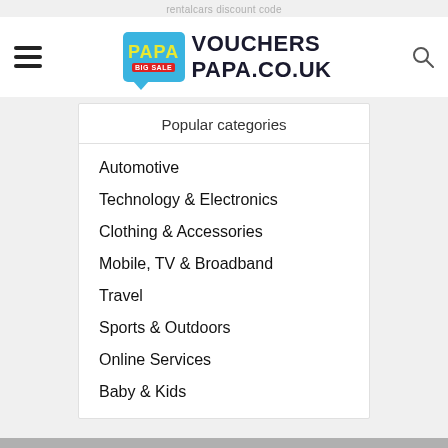rentalcars discount code
[Figure (logo): PAPA BIG SALE speech bubble logo with VOUCHERS PAPA.CO.UK text]
Popular categories
Automotive
Technology & Electronics
Clothing & Accessories
Mobile, TV & Broadband
Travel
Sports & Outdoors
Online Services
Baby & Kids